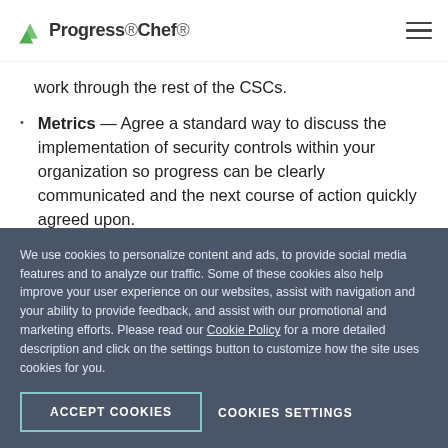Progress Chef
work through the rest of the CSCs.
Metrics — Agree a standard way to discuss the implementation of security controls within your organization so progress can be clearly communicated and the next course of action quickly agreed upon.
Continuous Diagnostics and Mitigation —
We use cookies to personalize content and ads, to provide social media features and to analyze our traffic. Some of these cookies also help improve your user experience on our websites, assist with navigation and your ability to provide feedback, and assist with our promotional and marketing efforts. Please read our Cookie Policy for a more detailed description and click on the settings button to customize how the site uses cookies for you.
ACCEPT COOKIES   COOKIES SETTINGS